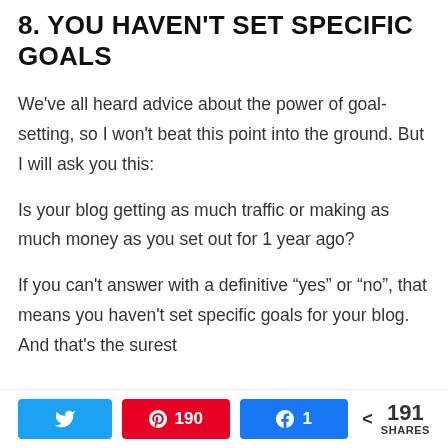8. YOU HAVEN'T SET SPECIFIC GOALS
We've all heard advice about the power of goal-setting, so I won't beat this point into the ground. But I will ask you this:
Is your blog getting as much traffic or making as much money as you set out for 1 year ago?
If you can't answer with a definitive “yes” or “no”, that means you haven't set specific goals for your blog. And that's the surest
Twitter share | Pinterest 190 | Facebook 1 | < 191 SHARES